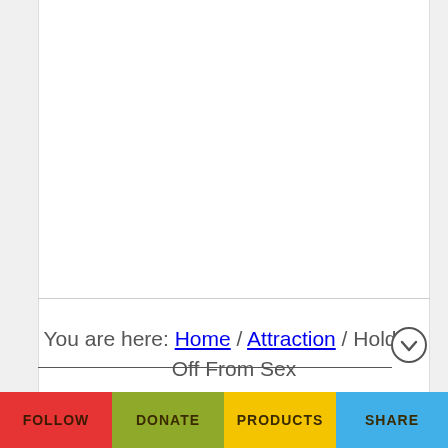You are here: Home / Attraction / Holding Off From Sex
Published on November 1, 2012
FOLLOW | DONATE | PRODUCTS | SHARE